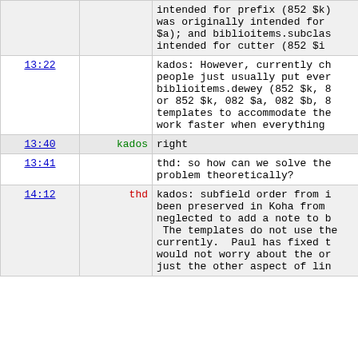| time | nick | message |
| --- | --- | --- |
|  |  | intended for prefix (852 $k) was originally intended for $a); and biblioitems.subclas intended for cutter (852 $i |
| 13:22 |  | kados: However, currently ch people just usually put ever biblioitems.dewey (852 $k, 8 or 852 $k, 082 $a, 082 $b, 8 templates to accommodate the work faster when everything |
| 13:40 | kados | right |
| 13:41 |  | thd: so how can we solve the problem theoretically? |
| 14:12 | thd | kados: subfield order from i been preserved in Koha from neglected to add a note to b The templates do not use the currently. Paul has fixed t would not worry about the or just the other aspect of lin |